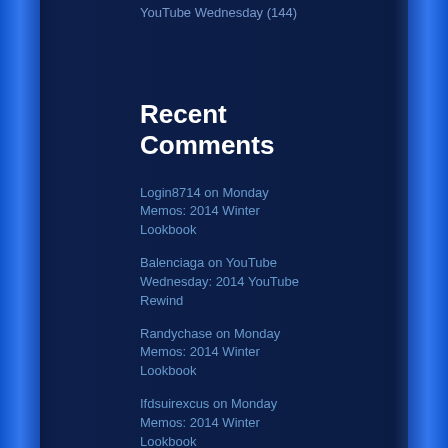YouTube Wednesday (144)
Recent Comments
Login8714 on Monday Memos: 2014 Winter Lookbook
Balenciaga on YouTube Wednesday: 2014 YouTube Rewind
Randychase on Monday Memos: 2014 Winter Lookbook
Ifdsuirexcus on Monday Memos: 2014 Winter Lookbook
aliciasr60 on YouTube Wednesday: Basically Britt… the BookTuber you didn't even know you needed in your life
Contact Page